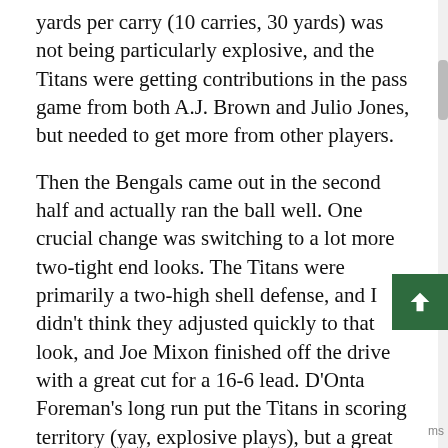yards per carry (10 carries, 30 yards) was not being particularly explosive, and the Titans were getting contributions in the pass game from both A.J. Brown and Julio Jones, but needed to get more from other players.
Then the Bengals came out in the second half and actually ran the ball well. One crucial change was switching to a lot more two-tight end looks. The Titans were primarily a two-high shell defense, and I didn't think they adjusted quickly to that look, and Joe Mixon finished off the drive with a great cut for a 16-6 lead. D'Onta Foreman's long run put the Titans in scoring territory (yay, explosive plays), but a great play by Mike Hilton for a pick gave me and every other Titans fan that "Oh, no" feeling. But Eli Apple's taunting penalty backed the Bengals up from where they should have started, Amani Hooker disrupted Tee Higgins at the